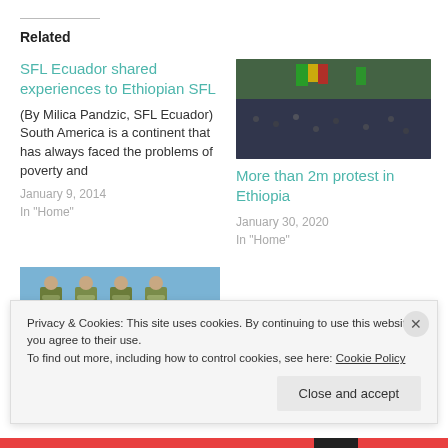Related
SFL Ecuador shared experiences to Ethiopian SFL
(By Milica Pandzic, SFL Ecuador) South America is a continent that has always faced the problems of poverty and
January 9, 2014
In "Home"
[Figure (photo): Crowd of protesters with Ethiopian flags]
More than 2m protest in Ethiopia
January 30, 2020
In "Home"
[Figure (photo): Four soldiers standing with arms crossed]
Privacy & Cookies: This site uses cookies. By continuing to use this website, you agree to their use.
To find out more, including how to control cookies, see here: Cookie Policy
Close and accept